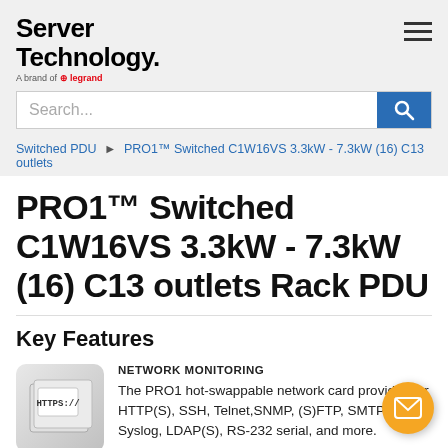[Figure (logo): Server Technology logo with 'A brand of Legrand' tagline]
Search...
Switched PDU ► PRO1™ Switched C1W16VS 3.3kW - 7.3kW (16) C13 outlets
PRO1™ Switched C1W16VS 3.3kW - 7.3kW (16) C13 outlets Rack PDU
Key Features
[Figure (illustration): Network monitoring icon showing HTTPS:// document]
NETWORK MONITORING
The PRO1 hot-swappable network card provides for HTTP(S), SSH, Telnet,SNMP, (S)FTP, SMTP, Syslog, LDAP(S), RS-232 serial, and more.
HOT-SWAP NETWORK CARD